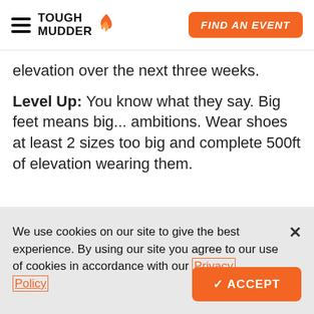TOUGH MUDDER | FIND AN EVENT
elevation over the next three weeks.
Level Up: You know what they say. Big feet means big... ambitions. Wear shoes at least 2 sizes too big and complete 500ft of elevation wearing them.
We use cookies on our site to give the best experience. By using our site you agree to our use of cookies in accordance with our Privacy Policy
✓ ACCEPT
WEEK 7